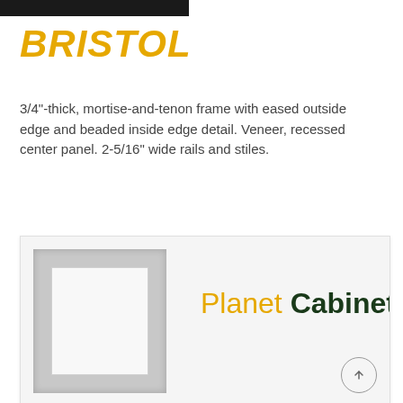BRISTOL
3/4"-thick, mortise-and-tenon frame with eased outside edge and beaded inside edge detail. Veneer, recessed center panel. 2-5/16" wide rails and stiles.
[Figure (photo): Cabinet door sample photo showing a recessed panel door style, with Planet Cabinets logo overlay on the right side and an up-arrow navigation button in the lower right corner.]